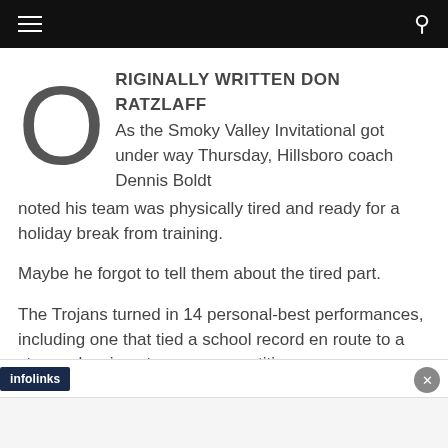RIGINALLY WRITTEN DON RATZLAFF As the Smoky Valley Invitational got under way Thursday, Hillsboro coach Dennis Boldt noted his team was physically tired and ready for a holiday break from training.
Maybe he forgot to tell them about the tired part.
The Trojans turned in 14 personal-best performances, including one that tied a school record en route to a strong showing at a very competitive
infolinks